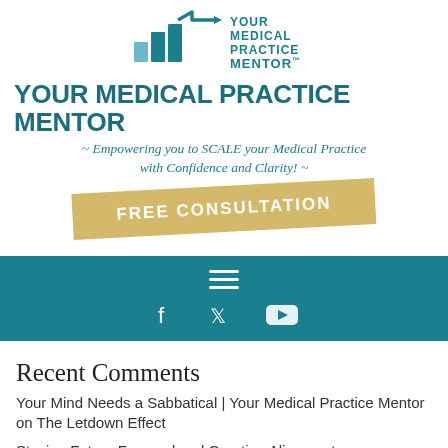[Figure (logo): Your Medical Practice Mentor logo with bar chart and upward arrow icon in teal, with text YOUR MEDICAL PRACTICE MENTOR™]
YOUR MEDICAL PRACTICE MENTOR
~ Empowering you to SCALE your Medical Practice with Confidence and Clarity! ~
[Figure (other): Gold/tan angled button with text FREE CONSULTATION]
[Figure (other): Teal navigation bar with hamburger menu icon (three horizontal lines) and social media icons for Facebook, Twitter, and YouTube]
Recent Comments
Your Mind Needs a Sabbatical | Your Medical Practice Mentor on The Letdown Effect
Staying Future Focused and Creating Alignment